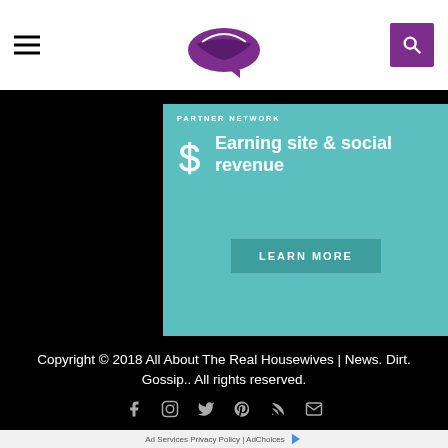[Figure (logo): Purple lips logo for All About The Real Housewives website, centered in the navigation bar]
[Figure (screenshot): SHE Partner Network advertisement banner with teal background showing dollar sign icon, heading 'Earning site & social revenue', and a 'LEARN MORE' button]
Copyright © 2018 All About The Real Housewives | News. Dirt. Gossip.. All rights reserved.
[Figure (infographic): Social media icon row: Facebook, Instagram, Twitter, Pinterest, RSS, Email]
Ad Services Privacy Policy | AdChoices
[Figure (screenshot): Bottom banner advertisement for SHE Partner Network with woman photo, bullet points: Earning site & social revenue, Traffic growth, Speaking on our stages, SHE Partner Network logo, and LEARN MORE button]